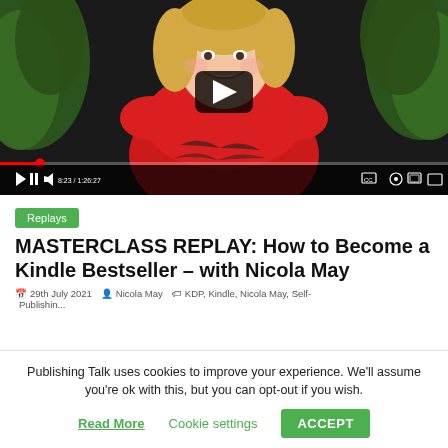[Figure (screenshot): Video player showing a woman in a red top smiling, with play button overlay and video controls showing timestamp 8:23 / 1:26:27]
Replays
MASTERCLASS REPLAY: How to Become a Kindle Bestseller – with Nicola May
29th July 2021   Nicola May   KDP, Kindle, Nicola May, Self-Publishing...
Publishing Talk uses cookies to improve your experience. We'll assume you're ok with this, but you can opt-out if you wish.